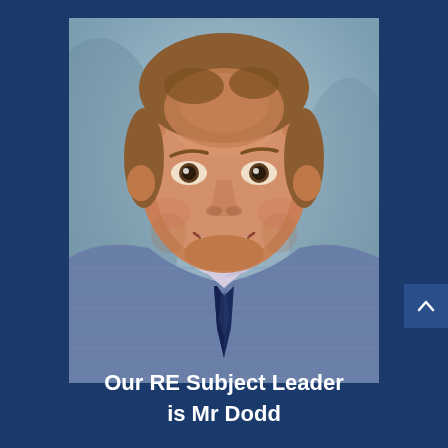[Figure (photo): Professional headshot of a middle-aged man with short brown hair, smiling, wearing a blue checked shirt and a dark navy tie, photographed against a light blue-grey studio background.]
Our RE Subject Leader is Mr Dodd